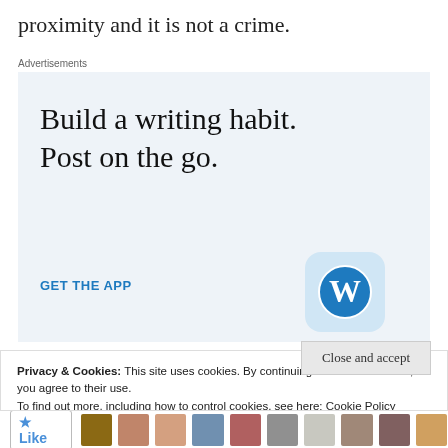proximity and it is not a crime.
Advertisements
[Figure (infographic): WordPress app advertisement with text 'Build a writing habit. Post on the go.' and 'GET THE APP' call to action with WordPress logo]
Privacy & Cookies: This site uses cookies. By continuing to use this website, you agree to their use.
To find out more, including how to control cookies, see here: Cookie Policy
Close and accept
Like